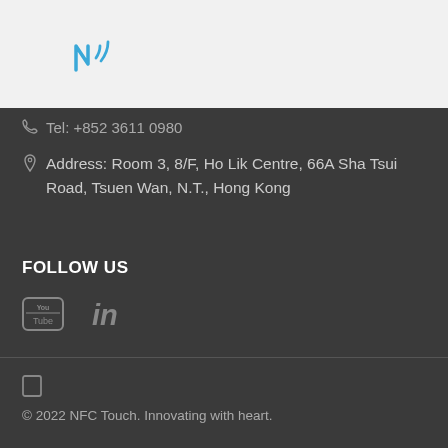[Figure (logo): NFC Touch logo - stylized N with wifi/signal waves in blue]
Tel: +852 3611 0980
Address: Room 3, 8/F, Ho Lik Centre, 66A Sha Tsui Road, Tsuen Wan, N.T., Hong Kong
FOLLOW US
[Figure (illustration): YouTube and LinkedIn social media icons]
© 2022 NFC Touch. Innovating with heart.